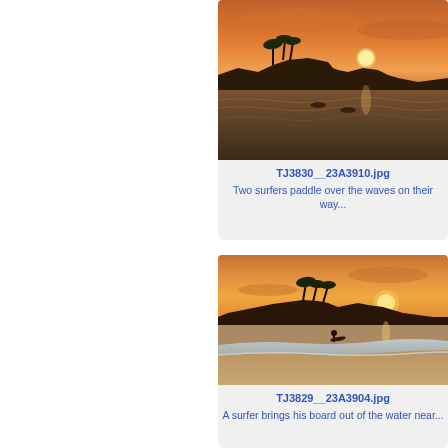[Figure (photo): Two surfers paddling over waves at sunset with palm trees and island silhouette in background, orange sky]
TJ3830__23A3910.jpg
Two surfers paddle over the waves on their way...
[Figure (photo): A surfer carrying a board walking out of the water on a sandy beach at sunset, palm trees and orange sky in background]
TJ3829__23A3904.jpg
A surfer brings his board out of the water near...